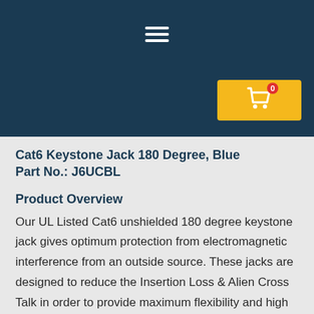[Figure (other): Dark blue navigation header bar with hamburger menu icon (three horizontal white lines) centered at top, and a yellow shopping cart button with red badge showing '0' in the top right corner]
Cat6 Keystone Jack 180 Degree, Blue
Part No.: J6UCBL
Product Overview
Our UL Listed Cat6 unshielded 180 degree keystone jack gives optimum protection from electromagnetic interference from an outside source. These jacks are designed to reduce the Insertion Loss & Alien Cross Talk in order to provide maximum flexibility and high performance for all 10G Ethernet applications and are available in a 180° orientation with a dual termination